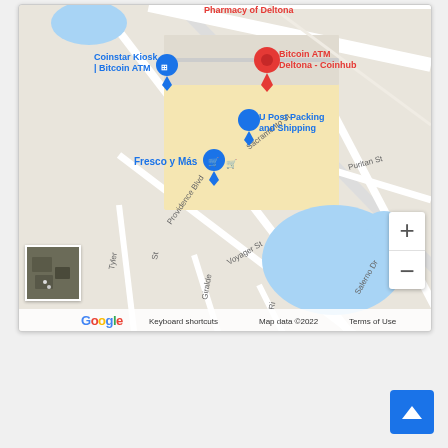[Figure (map): Google Maps screenshot showing area around Bitcoin ATM Deltona - Coinhub location. Visible landmarks include Coinstar Kiosk / Bitcoin ATM, U Post Packing and Shipping, Fresco y Más. Streets visible: Providence Blvd, Sacramento St, Voyager St, Puritan St, Salerno Dr, Tyler St, Giraldo. Water bodies visible. Zoom controls (+/-) in bottom right. Small satellite thumbnail in bottom left. Google logo, Keyboard shortcuts, Map data ©2022, Terms of Use in footer.]